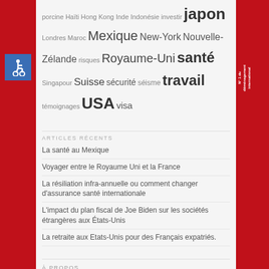porcine Haïti Hong Kong Inde Indonésie investir japon Londres Maroc Mexique New-York Nouvelle-Zélande risques Royaume-Uni santé Singapour Suisse sécurité séisme travail témoignages USA visa
ARTICLES RÉCENTS
La santé au Mexique
Voyager entre le Royaume Uni et la France
La résiliation infra-annuelle ou comment changer d'assurance santé internationale
L'impact du plan fiscal de Joe Biden sur les sociétés étrangères aux États-Unis
La retraite aux Etats-Unis pour des Français expatriés.
À PROPOS